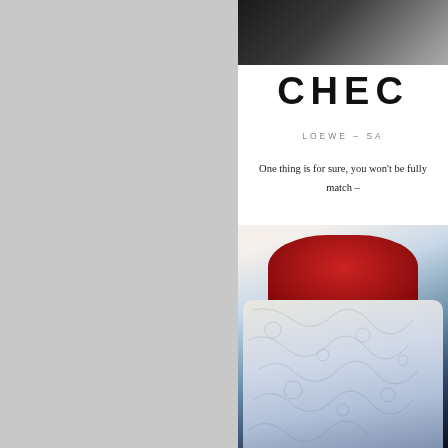[Figure (photo): Left half of page: large gray/light gray background panel]
[Figure (photo): Top right: dark fashion photo, partially cropped, showing dark jacket with zipper]
CHEC
LOEWE – SA
One thing is for sure, you won't be fully dressed without a check – match –
[Figure (photo): Bottom right: fashion photo of model wearing red ribbed turtleneck/cowl neck with ring detail over blue and white toile printed jacket, dark hair, dark bottoms]